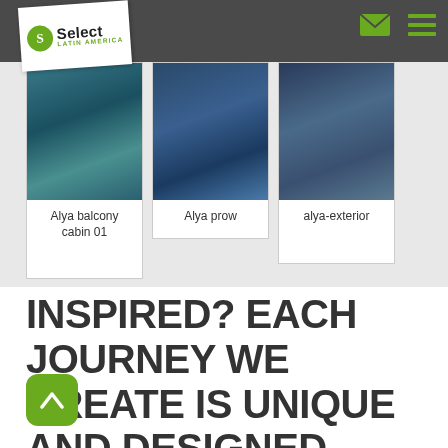[Figure (logo): Select Latin America logo on white tilted card in navigation bar]
[Figure (photo): Three gallery cards showing Alya yacht photos: Alya balcony cabin 01, Alya prow, alya-exterior]
Alya balcony cabin 01
Alya prow
alya-exterior
INSPIRED? EACH JOURNEY WE CREATE IS UNIQUE AND DESIGNED ENTIRELY AROUND YOU. FILL OUT YOUR DETAILS HERE TO GET STARTED...